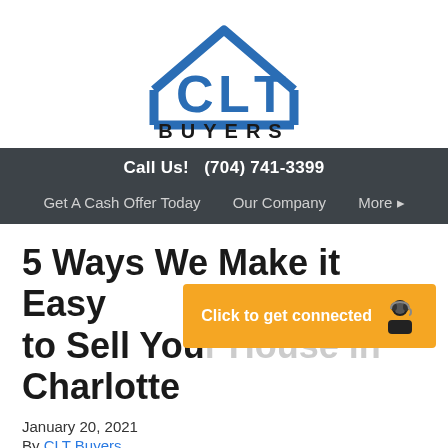[Figure (logo): CLT Buyers logo with blue house/letters icon and BUYERS text below]
Call Us!  (704) 741-3399
Get A Cash Offer Today   Our Company   More ▸
5 Ways We Make it Easy to Sell Your House in Charlotte
January 20, 2021
By CLT Buyers